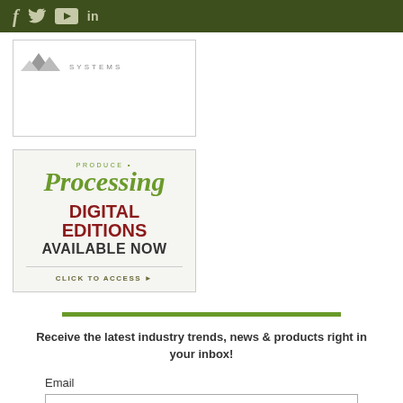f  twitter  youtube  in
[Figure (logo): Systems logo with mountain silhouette graphic and text SYSTEMS in spaced letters]
[Figure (illustration): Produce Processing magazine ad: PRODUCE PROCESSING in green italic serif font, DIGITAL EDITIONS in bold red, AVAILABLE NOW in bold dark text, CLICK TO ACCESS with arrow in olive text]
Receive the latest industry trends, news & products right in your inbox!
Email